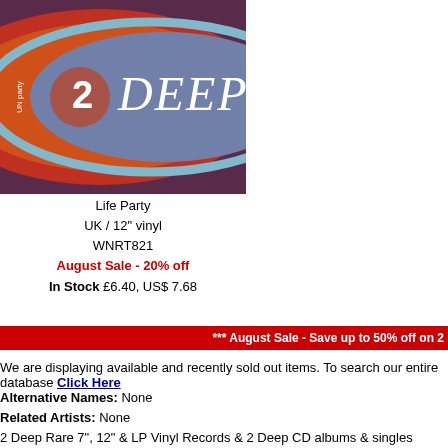[Figure (photo): Album cover for '2 Deep' by Life Party – purple/mauve background with concentric ellipses in orange-red, light blue/cyan, and a large grey-blue oval. White text shows '2' and 'DEEP' in italic font.]
Life Party
UK / 12" vinyl
WNRT821
August Sale - 20% off
In Stock £6.40, US$ 7.68
back to top
*** August Sale - Save up to 50% off on 2
We are displaying available and recently sold out items. To search our entire database Click Here
Alternative Names: None
Related Artists: None
2 Deep Rare 7", 12" & LP Vinyl Records & 2 Deep CD albums & singles